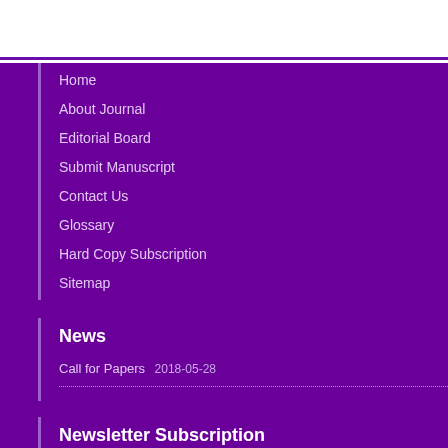Home
About Journal
Editorial Board
Submit Manuscript
Contact Us
Glossary
Hard Copy Subscription
Sitemap
News
Call for Papers 2018-05-28
Newsletter Subscription
Subscribe to the journal newsletter and receive the